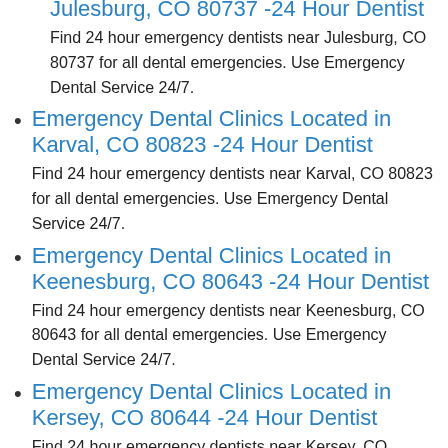Julesburg, CO 80737 -24 Hour Dentist
Find 24 hour emergency dentists near Julesburg, CO 80737 for all dental emergencies. Use Emergency Dental Service 24/7.
Emergency Dental Clinics Located in Karval, CO 80823 -24 Hour Dentist
Find 24 hour emergency dentists near Karval, CO 80823 for all dental emergencies. Use Emergency Dental Service 24/7.
Emergency Dental Clinics Located in Keenesburg, CO 80643 -24 Hour Dentist
Find 24 hour emergency dentists near Keenesburg, CO 80643 for all dental emergencies. Use Emergency Dental Service 24/7.
Emergency Dental Clinics Located in Kersey, CO 80644 -24 Hour Dentist
Find 24 hour emergency dentists near Kersey, CO 80644 for